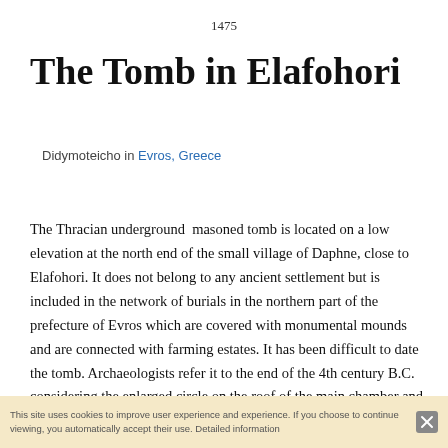1475
The Tomb in Elafohori
Didymoteicho in Evros, Greece
The Thracian underground  masoned tomb is located on a low elevation at the north end of the small village of Daphne, close to Elafohori. It does not belong to any ancient settlement but is included in the network of burials in the northern part of the prefecture of Evros which are covered with monumental mounds and are connected with farming estates. It has been difficult to date the tomb. Archaeologists refer it to the end of the 4th century B.C. considering the enlarged circle on the roof of the main chamber and this dating – the end of the 4th and the beginning of the 3rd century is the most common.
The monument belongs to the so called Macedonian types of tombs but it also has some specific structural characteristics like all its synchronous built tombs in Thrace. It is covered with a mound made of earth and gravel; its interior is built of cut limestone.
This site uses cookies to improve user experience and experience. If you choose to continue viewing, you automatically accept their use. Detailed information